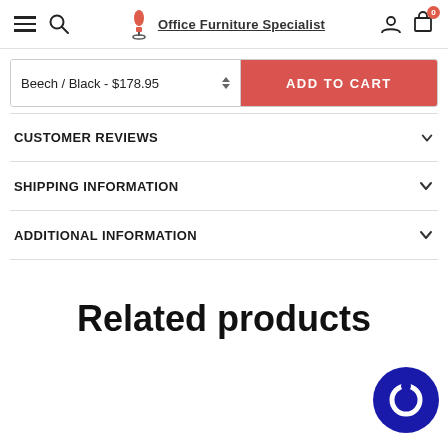[Figure (screenshot): Website header with hamburger menu, search icon, Office Furniture Specialist logo, user icon, and cart icon with badge showing 0]
[Figure (screenshot): Add to cart bar: variant selector showing 'Beech / Black - $178.95' and red ADD TO CART button]
CUSTOMER REVIEWS
SHIPPING INFORMATION
ADDITIONAL INFORMATION
Related products
[Figure (illustration): Dark blue circular chat/messaging widget icon in bottom right corner]